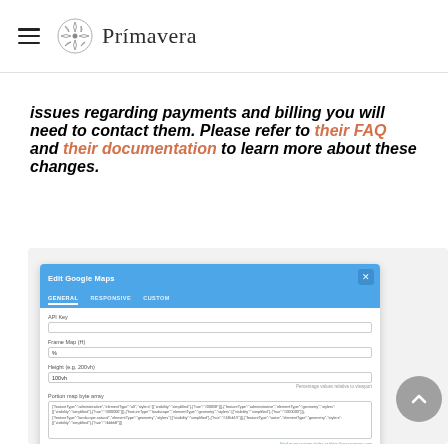Prímavera
issues regarding payments and billing you will need to contact them. Please refer to their FAQ and their documentation to learn more about these changes.
[Figure (screenshot): Screenshot of an 'Edit Google Maps' modal dialog with a blue header, tabs (GENERAL, RESPONSIVE, CUSTOM), and form fields including API Key, Frame Map (H), Height, Portion map byte array (textarea with JSON-like content), and Inline map.]